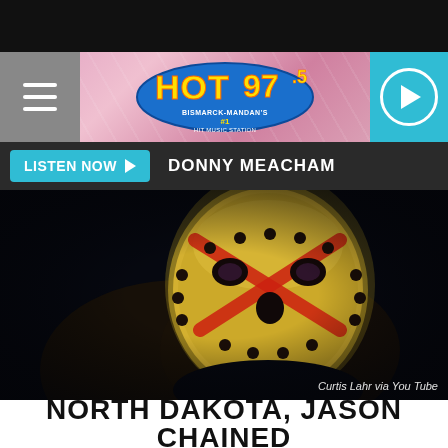[Figure (logo): HOT 97.5 Bismarck-Mandan's #1 Hit Music Station logo with blue oval and yellow/red text]
LISTEN NOW ▶  DONNY MEACHAM
[Figure (photo): Person wearing a Jason Voorhees hockey mask (Friday the 13th style), gold/yellow mask with red X marking, dark background]
Curtis Lahr via You Tube
NORTH DAKOTA, JASON CHAINED